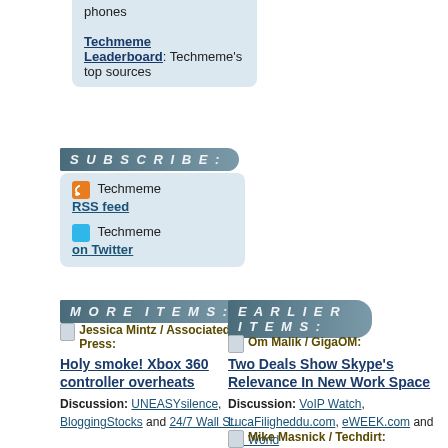phones
Techmeme Leaderboard: Techmeme's top sources
SUBSCRIBE:
RSS icon Techmeme RSS feed
Twitter icon Techmeme on Twitter
MORE ITEMS:
Jessica Mintz / Associated Press:
Holy smoke! Xbox 360 controller overheats
Discussion: UNEASYsilence, BloggingStocks and 24/7 Wall St.
EARLIER ITEMS:
Om Malik / GigaOM:
Two Deals Show Skype's Relevance In New Work Space
Discussion: VoIP Watch, LucaFiligheddu.com, eWEEK.com and PC World
Mike Masnick / Techdirt: